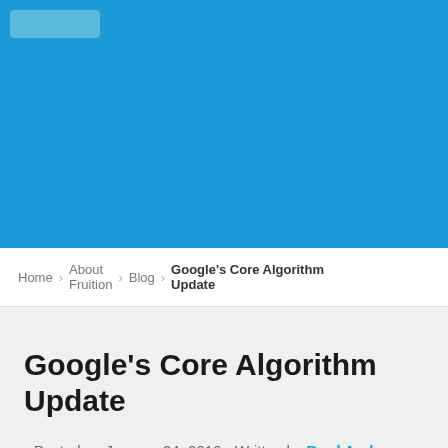[Figure (other): Blue website header banner with a light blue rectangular button/logo element in the top-left corner]
Home › About Fruition › Blog › Google's Core Algorithm Update
Google's Core Algorithm Update
Posted on January 24, 2016 • Written by Brad Anderson